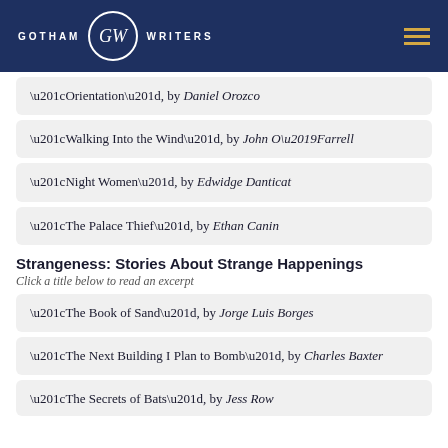GOTHAM WRITERS
“Orientation”, by Daniel Orozco
“Walking Into the Wind”, by John O’Farrell
“Night Women”, by Edwidge Danticat
“The Palace Thief”, by Ethan Canin
Strangeness: Stories About Strange Happenings
Click a title below to read an excerpt
“The Book of Sand”, by Jorge Luis Borges
“The Next Building I Plan to Bomb”, by Charles Baxter
“The Secrets of Bats”, by Jess Row